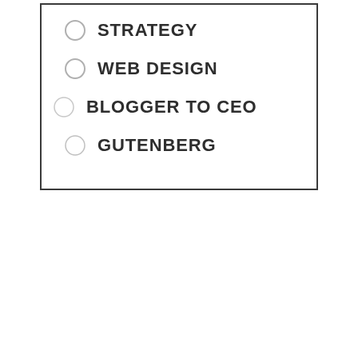STRATEGY
WEB DESIGN
BLOGGER TO CEO
GUTENBERG